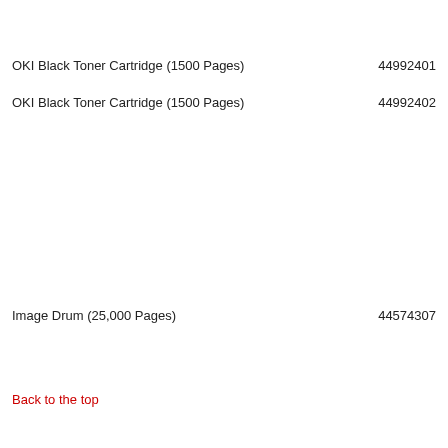OKI Black Toner Cartridge (1500 Pages)    44992401
OKI Black Toner Cartridge (1500 Pages)    44992402
Image Drum (25,000 Pages)    44574307
Back to the top